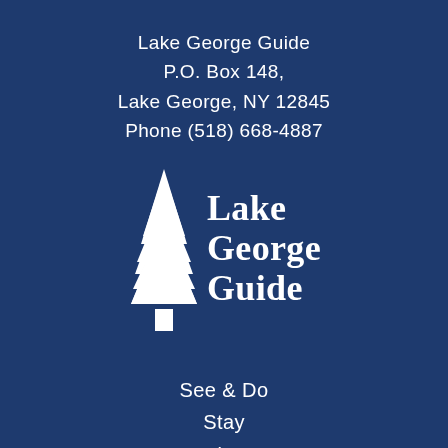Lake George Guide
P.O. Box 148,
Lake George, NY 12845
Phone (518) 668-4887
[Figure (logo): Lake George Guide logo: white pine tree icon beside bold white text reading 'Lake George Guide' in two stacked lines]
See & Do
Stay
Dine
Shop
Living Here
Guides
Events
Advertise